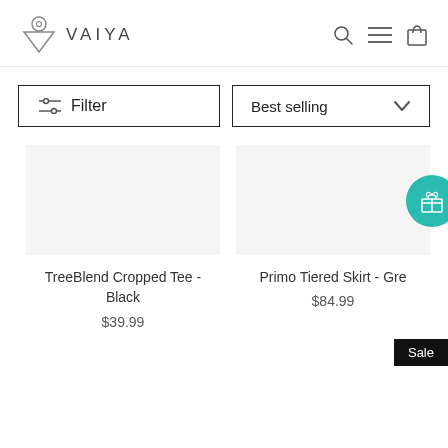VAIYA
Filter
Best selling
TreeBlend Cropped Tee - Black
$39.99
Primo Tiered Skirt - Gre
$84.99
Sale